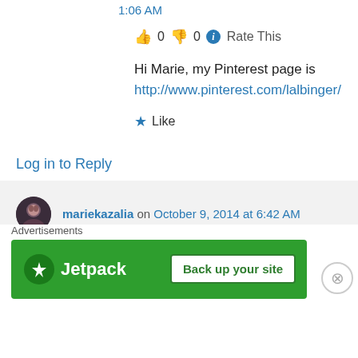1:06 AM
👍 0 👎 0 ℹ Rate This
Hi Marie, my Pinterest page is http://www.pinterest.com/lalbinger/
★ Like
Log in to Reply
mariekazalia on October 9, 2014 at 6:42 AM
👍 0 👎 0 ℹ Rate This
Lisa
Advertisements
[Figure (screenshot): Jetpack advertisement banner with 'Back up your site' button]